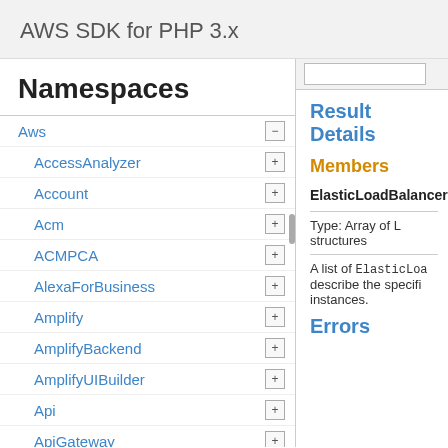AWS SDK for PHP 3.x
Namespaces
Aws
AccessAnalyzer
Account
Acm
ACMPCA
AlexaForBusiness
Amplify
AmplifyBackend
AmplifyUIBuilder
Api
ApiGateway
ApiGatewayManagementApi
Result Details
Members
ElasticLoadBalancers
Type: Array of L structures
A list of ElasticLoa describe the specifi instances.
Errors